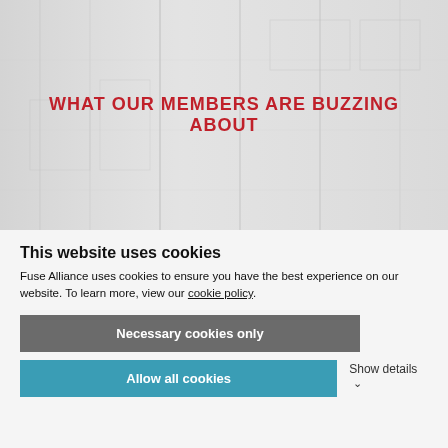[Figure (photo): Blurred light interior hallway background image with faint architectural elements visible]
WHAT OUR MEMBERS ARE BUZZING ABOUT
This website uses cookies
Fuse Alliance uses cookies to ensure you have the best experience on our website. To learn more, view our cookie policy.
Necessary cookies only
Allow all cookies
Show details